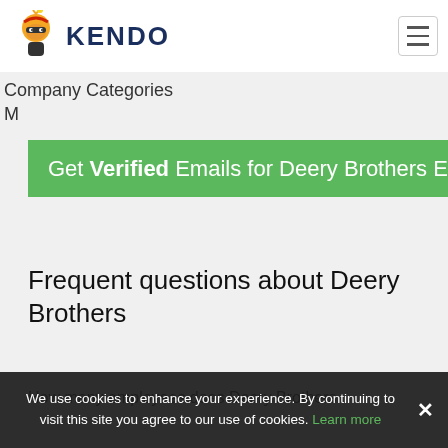KENDO
Company Categories
M
Get Verified Emails for Deery Brothers Employees
Frequent questions about Deery Brothers
How many employees does Deery Brothers
We use cookies to enhance your experience. By continuing to visit this site you agree to our use of cookies. Learn more